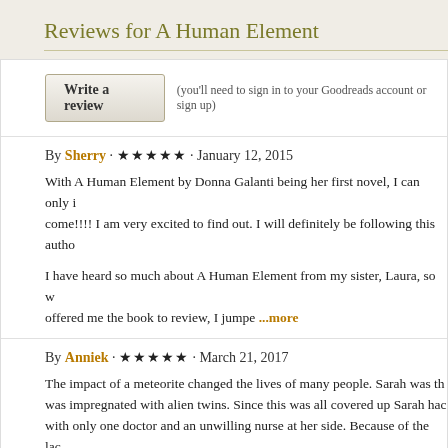Reviews for A Human Element
Write a review   (you'll need to sign in to your Goodreads account or sign up)
By Sherry · ★★★★★ · January 12, 2015
With A Human Element by Donna Galanti being her first novel, I can only i... come!!!! I am very excited to find out. I will definitely be following this autho...
I have heard so much about A Human Element from my sister, Laura, so w... offered me the book to review, I jumpe ...more
By Anniek · ★★★★★ · March 21, 2017
The impact of a meteorite changed the lives of many people. Sarah was th... was impregnated with alien twins. Since this was all covered up Sarah hac... with only one doctor and an unwilling nurse at her side. Because of the lac... Sarah die ...more
By Stephanie · ★★★★☆ · August 16, 2012
I really enjoyed this book and struggled to put it down, this book is truly on... writing is stunning. I was so impressed with how Galanti covered issues su... and death in such a real and gritty way, the events in this book haven't b...